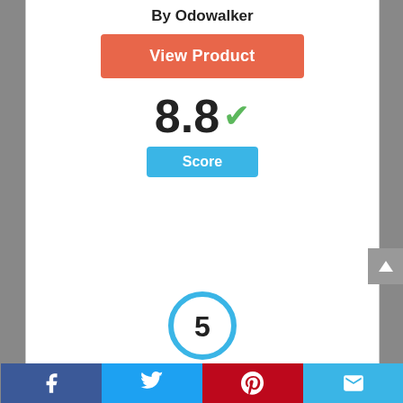By Odowalker
[Figure (other): Orange 'View Product' button]
8.8 ✓
Score
[Figure (other): Blue circle badge with number 5]
[Figure (photo): Hardware product photo (roller/hinge)]
Facebook | Twitter | Pinterest | Email social share bar